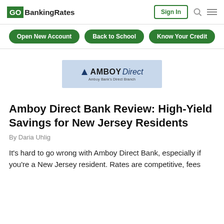GOBankingRates | Sign In
Open New Account | Back to School | Know Your Credit
[Figure (logo): Amboy Direct bank advertisement banner - blue background with Amboy Direct logo and tagline 'Amboy Bank's Direct Branch']
Amboy Direct Bank Review: High-Yield Savings for New Jersey Residents
By Daria Uhlig
It's hard to go wrong with Amboy Direct Bank, especially if you're a New Jersey resident. Rates are competitive, fees